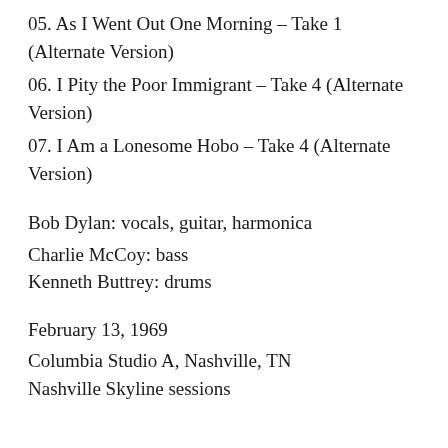05. As I Went Out One Morning – Take 1 (Alternate Version)
06. I Pity the Poor Immigrant – Take 4 (Alternate Version)
07. I Am a Lonesome Hobo – Take 4 (Alternate Version)
Bob Dylan: vocals, guitar, harmonica
Charlie McCoy: bass
Kenneth Buttrey: drums
February 13, 1969
Columbia Studio A, Nashville, TN
Nashville Skyline sessions